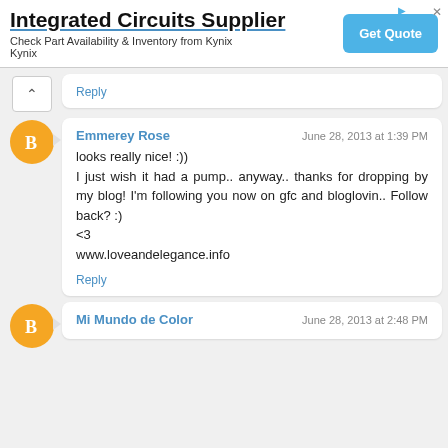[Figure (screenshot): Advertisement banner for Integrated Circuits Supplier - Kynix with Get Quote button]
Reply
Emmerey Rose
June 28, 2013 at 1:39 PM
looks really nice! :))
I just wish it had a pump.. anyway.. thanks for dropping by my blog! I'm following you now on gfc and bloglovin.. Follow back? :)
<3
www.loveandelegance.info
Reply
Mi Mundo de Color
June 28, 2013 at 2:48 PM